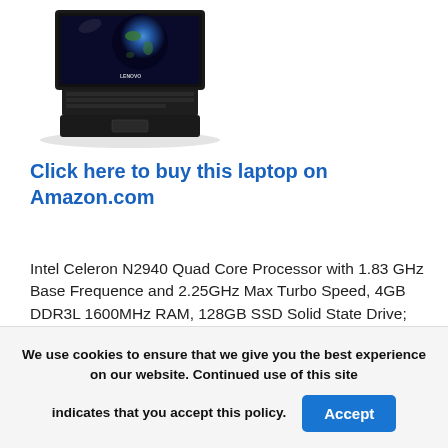[Figure (photo): A black Lenovo laptop with the screen open, displaying a blue Earth image on a dark background.]
Click here to buy this laptop on Amazon.com
Intel Celeron N2940 Quad Core Processor with 1.83 GHz Base Frequence and 2.25GHz Max Turbo Speed, 4GB DDR3L 1600MHz RAM, 128GB SSD Solid State Drive; Rugged Tough Construction: Military-
We use cookies to ensure that we give you the best experience on our website. Continued use of this site indicates that you accept this policy.